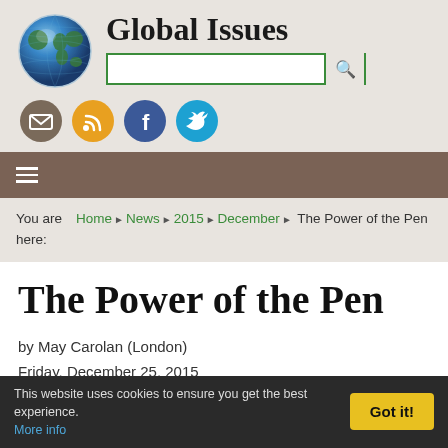[Figure (logo): Globe icon for Global Issues website]
Global Issues
[Figure (screenshot): Search bar with green border and search button]
[Figure (infographic): Four social media icons: email (brown), RSS (orange), Facebook (blue), Twitter (cyan)]
Navigation hamburger menu bar
You are here: Home ▶ News ▶ 2015 ▶ December ▶ The Power of the Pen
The Power of the Pen
by May Carolan (London)
Friday, December 25, 2015
Inter Press Service
This website uses cookies to ensure you get the best experience. More info  Got it!